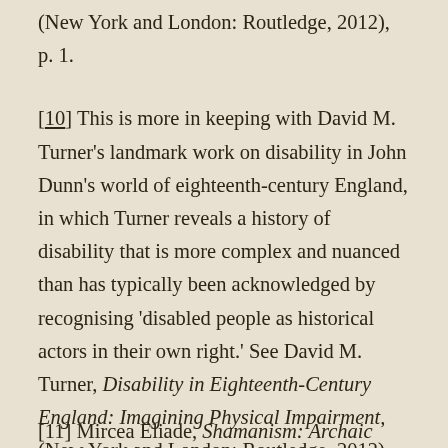(New York and London: Routledge, 2012), p. 1.
[10] This is more in keeping with David M. Turner's landmark work on disability in John Dunn's world of eighteenth-century England, in which Turner reveals a history of disability that is more complex and nuanced than has typically been acknowledged by recognising 'disabled people as historical actors in their own right.' See David M. Turner, Disability in Eighteenth-Century England: Imagining Physical Impairment, (New York and London: Routledge, 2012).
[11] Mircea Eliade, Shamanism: Archaic